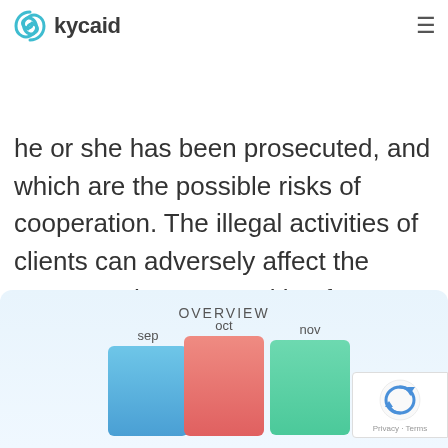kycaid
resolution is the fastest and the most accurate. It allows to check the reliability of the person, whether he or she has been prosecuted, and which are the possible risks of cooperation. The illegal activities of clients can adversely affect the company they are working for.
[Figure (bar-chart): OVERVIEW]